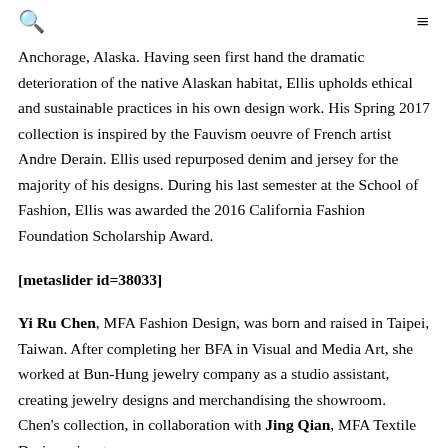🔍 ≡
Anchorage, Alaska. Having seen first hand the dramatic deterioration of the native Alaskan habitat, Ellis upholds ethical and sustainable practices in his own design work. His Spring 2017 collection is inspired by the Fauvism oeuvre of French artist Andre Derain. Ellis used repurposed denim and jersey for the majority of his designs. During his last semester at the School of Fashion, Ellis was awarded the 2016 California Fashion Foundation Scholarship Award.
[metaslider id=38033]
Yi Ru Chen, MFA Fashion Design, was born and raised in Taipei, Taiwan. After completing her BFA in Visual and Media Art, she worked at Bun-Hung jewelry company as a studio assistant, creating jewelry designs and merchandising the showroom. Chen's collection, in collaboration with Jing Qian, MFA Textile Design, aims to